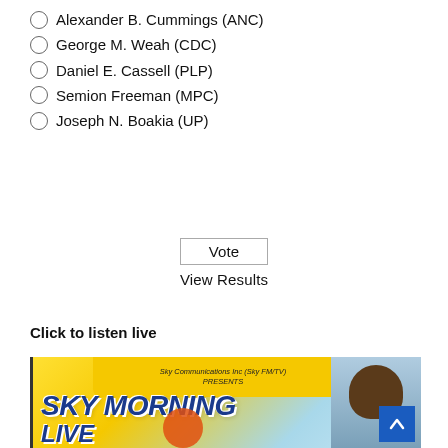Alexander B. Cummings (ANC)
George M. Weah (CDC)
Daniel E. Cassell (PLP)
Semion Freeman (MPC)
Joseph N. Boakia (UP)
Vote
View Results
Click to listen live
[Figure (photo): Sky Morning Live banner image featuring Sky Communications Inc (Sky FM/TV) logo, 'SKY MORNING LIVE' text in bold blue italic font, on a yellow/blue gradient background with a person's portrait on the right side.]